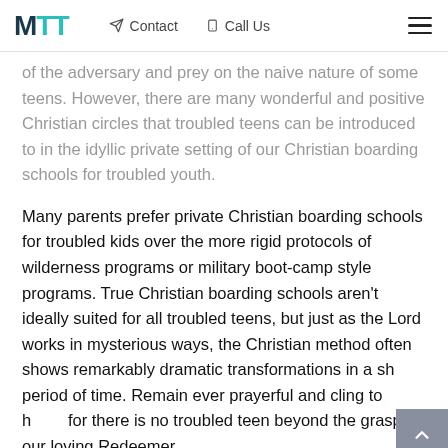MTT  Contact  Call Us
of the adversary and prey on the naive nature of some teens. However, there are many wonderful and positive Christian circles that troubled teens can be introduced to in the idyllic private setting of our Christian boarding schools for troubled youth.
Many parents prefer private Christian boarding schools for troubled kids over the more rigid protocols of wilderness programs or military boot-camp style programs. True Christian boarding schools aren't ideally suited for all troubled teens, but just as the Lord works in mysterious ways, the Christian method often shows remarkably dramatic transformations in a short period of time. Remain ever prayerful and cling to hope, for there is no troubled teen beyond the grasp of our loving Redeemer.